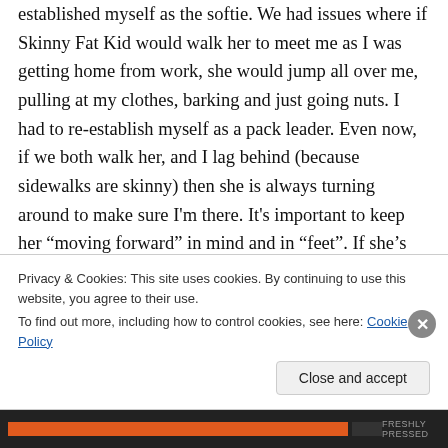established myself as the softie. We had issues where if Skinny Fat Kid would walk her to meet me as I was getting home from work, she would jump all over me, pulling at my clothes, barking and just going nuts. I had to re-establish myself as a pack leader. Even now, if we both walk her, and I lag behind (because sidewalks are skinny) then she is always turning around to make sure I'm there. It's important to keep her “moving forward” in mind and in “feet”. If she’s going on, then she isn’t focused on the fact that I’m behind
Privacy & Cookies: This site uses cookies. By continuing to use this website, you agree to their use.
To find out more, including how to control cookies, see here: Cookie Policy